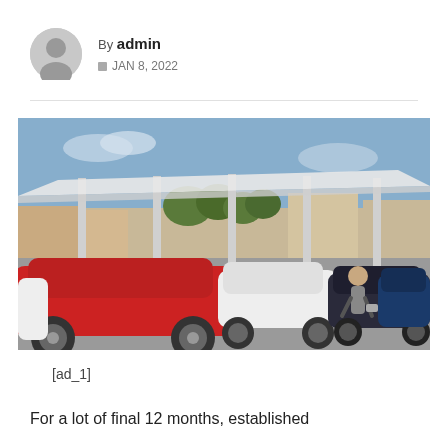By admin
JAN 8, 2022
[Figure (photo): A parking lot with multiple Tesla electric vehicles parked under a solar canopy structure. A person is walking between the cars. Various colors of Tesla models are visible including red, white, and blue. Background shows trees and commercial buildings under a partly cloudy sky.]
[ad_1]
For a lot of final 12 months, established